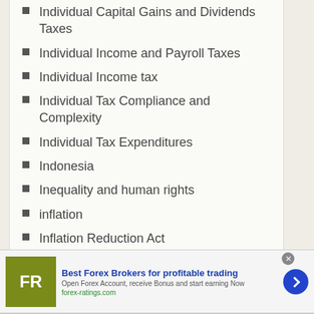Individual Capital Gains and Dividends Taxes
Individual Income and Payroll Taxes
Individual Income tax
Individual Tax Compliance and Complexity
Individual Tax Expenditures
Indonesia
Inequality and human rights
inflation
Inflation Reduction Act
inflaton
infrastructure
infrastructure spending
inheritance tax
[Figure (other): Advertisement banner for Forex Brokers: 'Best Forex Brokers for profitable trading'. Shows FR logo, text 'Open Forex Account, receive Bonus and start earning Now', url 'forex-ratings.com', and a blue arrow button.]